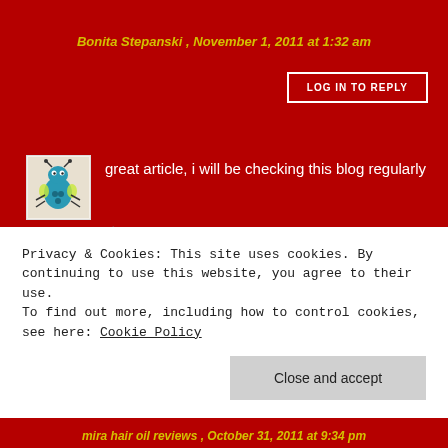Bonita Stepanski , November 1, 2011 at 1:32 am
LOG IN TO REPLY
[Figure (illustration): Small avatar/icon image of a cartoon bug character on a light background]
great article, i will be checking this blog regularly
★ Like
buy gps , October 31, 2011 at 10:52 pm
LOG IN TO REPLY
Privacy & Cookies: This site uses cookies. By continuing to use this website, you agree to their use.
To find out more, including how to control cookies, see here: Cookie Policy
Close and accept
mira hair oil reviews , October 31, 2011 at 9:34 pm